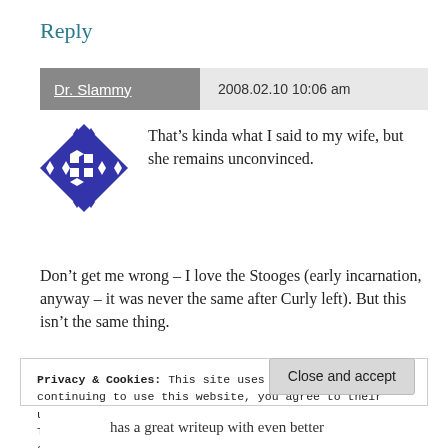Reply
Dr. Slammy   2008.02.10 10:06 am
That’s kinda what I said to my wife, but she remains unconvinced.
Don’t get me wrong – I love the Stooges (early incarnation, anyway – it was never the same after Curly left). But this isn’t the same thing.
Privacy & Cookies: This site uses cookies. By continuing to use this website, you agree to their use.
To find out more, including how to control cookies, see here: Cookie Policy
Close and accept
has a great writeup with even better